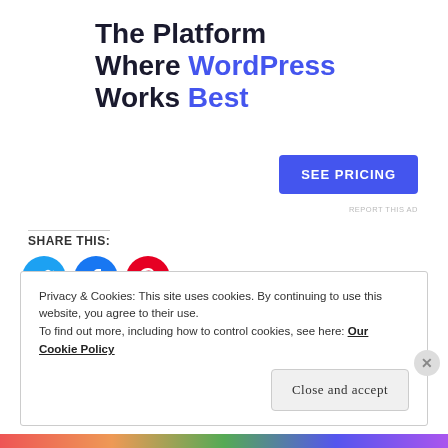[Figure (screenshot): Advertisement banner: 'The Platform Where WordPress Works Best' with a 'SEE PRICING' button]
REPORT THIS AD
SHARE THIS:
[Figure (infographic): Three social sharing icons: Twitter (blue circle), Facebook (blue circle), Pinterest (red circle)]
Privacy & Cookies: This site uses cookies. By continuing to use this website, you agree to their use.
To find out more, including how to control cookies, see here: Our Cookie Policy
Close and accept